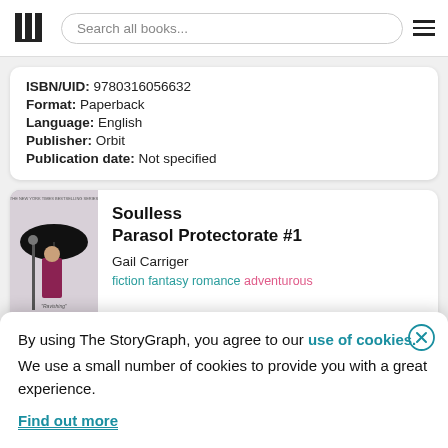Search all books...
ISBN/UID: 9780316056632
Format: Paperback
Language: English
Publisher: Orbit
Publication date: Not specified
[Figure (illustration): Book cover for Soulless by Gail Carriger showing a woman in a red dress holding a black umbrella]
Soulless
Parasol Protectorate #1
Gail Carriger
fiction fantasy romance adventurous
By using The StoryGraph, you agree to our use of cookies.
We use a small number of cookies to provide you with a great experience.
Find out more
Format: Paperback